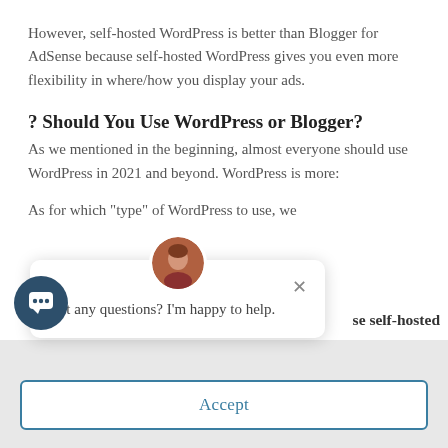However, self-hosted WordPress is better than Blogger for AdSense because self-hosted WordPress gives you even more flexibility in where/how you display your ads.
? Should You Use WordPress or Blogger?
As we mentioned in the beginning, almost everyone should use WordPress in 2021 and beyond. WordPress is more:
As for which “type” of WordPress to use, we
se self-hosted
Consent
nd our service.
[Figure (screenshot): Chat popup with avatar photo, close button (x), and text: Got any questions? I'm happy to help.]
[Figure (screenshot): Dark blue circular chat bubble icon button in bottom left corner]
Accept